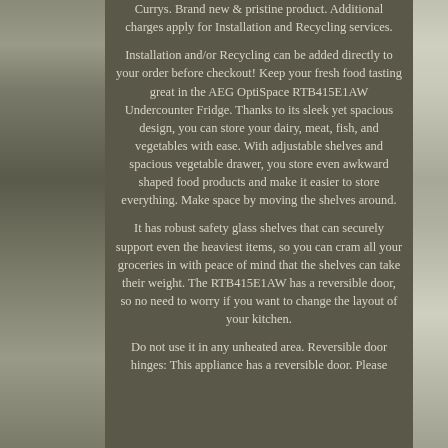[Figure (photo): Left side photo strip showing what appears to be a garage or building exterior with concrete/gravel ground]
Currys. Brand new & pristine product. Additional charges apply for Installation and Recycling services.

Installation and/or Recycling can be added directly to your order before checkout! Keep your fresh food tasting great in the AEG OptiSpace RTB415E1AW Undercounter Fridge. Thanks to its sleek yet spacious design, you can store your dairy, meat, fish, and vegetables with ease. With adjustable shelves and spacious vegetable drawer, you store even awkward shaped food products and make it easier to store everything. Make space by moving the shelves around.

It has robust safety glass shelves that can securely support even the heaviest items, so you can cram all your groceries in with peace of mind that the shelves can take their weight. The RTB415E1AW has a reversible door, so no need to worry if you want to change the layout of your kitchen.

Do not use it in any unheated area. Reversible door hinges: This appliance has a reversible door. Please
[Figure (photo): Right side photo strip showing what appears to be a refrigerator appliance]